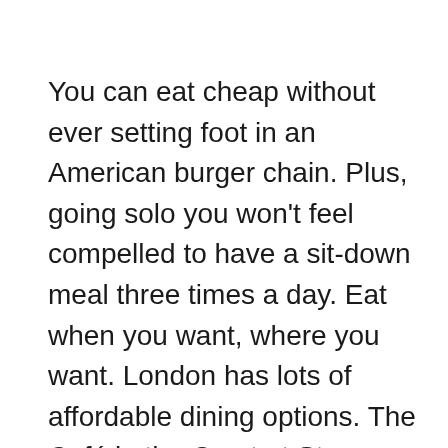You can eat cheap without ever setting foot in an American burger chain. Plus, going solo you won't feel compelled to have a sit-down meal three times a day. Eat when you want, where you want. London has lots of affordable dining options. The Café in the Crypt at St Martin's in the Fields is my go-to place for lunch or tea when I'm near Trafalgar Square. Many places have take away (carry out) and most grocery stores offer prepared foods to go. Stake out the local pub and eat at the bar. Dine at a museum café. Make lunch your big meal of the